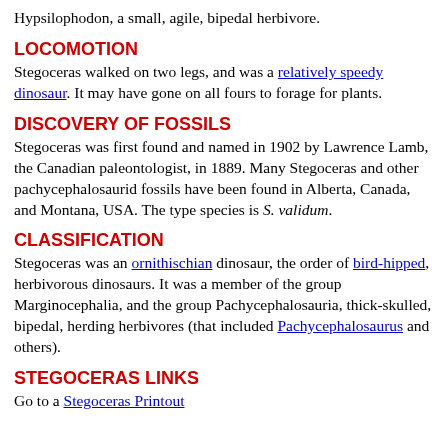Hypsilophodon, a small, agile, bipedal herbivore.
LOCOMOTION
Stegoceras walked on two legs, and was a relatively speedy dinosaur. It may have gone on all fours to forage for plants.
DISCOVERY OF FOSSILS
Stegoceras was first found and named in 1902 by Lawrence Lamb, the Canadian paleontologist, in 1889. Many Stegoceras and other pachycephalosaurid fossils have been found in Alberta, Canada, and Montana, USA. The type species is S. validum.
CLASSIFICATION
Stegoceras was an ornithischian dinosaur, the order of bird-hipped, herbivorous dinosaurs. It was a member of the group Marginocephalia, and the group Pachycephalosauria, thick-skulled, bipedal, herding herbivores (that included Pachycephalosaurus and others).
STEGOCERAS LINKS
Go to a Stegoceras Printout